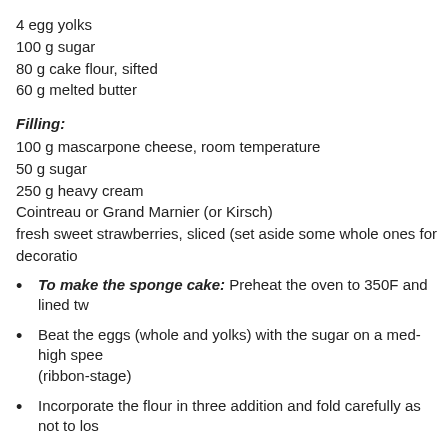4 egg yolks
100 g sugar
80 g cake flour, sifted
60 g melted butter
Filling:
100 g mascarpone cheese, room temperature
50 g sugar
250 g heavy cream
Cointreau or Grand Marnier (or Kirsch)
fresh sweet strawberries, sliced (set aside some whole ones for decoratio
To make the sponge cake: Preheat the oven to 350F and lined tw
Beat the eggs (whole and yolks) with the sugar on a med-high spee (ribbon-stage)
Incorporate the flour in three addition and fold carefully as not to los
Fold in the melted butter until well-mixed
Divide the batter between two prepared pans and bake it for about
Let cool on a wire rack
To make the filling: Combine the mascarpone cheese, sugar, hea a semi-stiff peak but still has its shine. Use it immediately